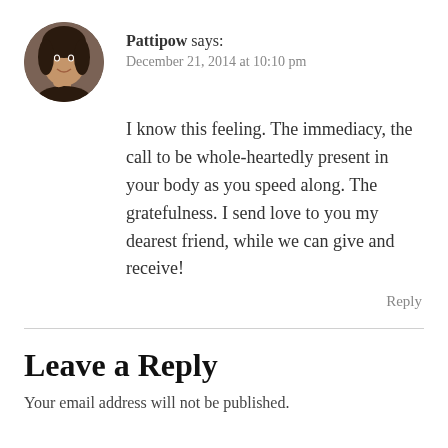[Figure (photo): Circular avatar photo of a woman smiling]
Pattipow says:
December 21, 2014 at 10:10 pm
I know this feeling. The immediacy, the call to be whole-heartedly present in your body as you speed along. The gratefulness. I send love to you my dearest friend, while we can give and receive!
Reply
Leave a Reply
Your email address will not be published.